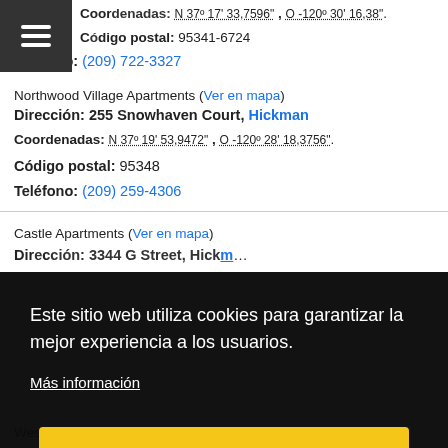Coordenadas: N 37º 17' 33,7596" , O -120º 30' 16,38".
Código postal: 95341-6724
Teléfono: (209) 722-3327
Northwood Village Apartments (Ver en mapa)
Dirección: 255 Snowhaven Court, Hickman
Coordenadas: N 37º 19' 53,9472" , O -120º 28' 18,3756".
Código postal: 95348
Teléfono: (209) 259-4306
Castle Apartments (Ver en mapa)
Dirección: 3344 G Street, Hick...
Este sitio web utiliza cookies para garantizar la mejor experiencia a los usuarios.
Más información
De acuerdo
Westwood Village Apartments (Ver en mapa)